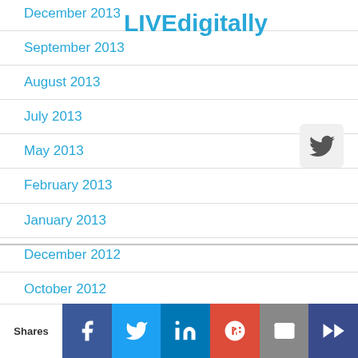December 2013
LIVEdigitally
September 2013
August 2013
July 2013
May 2013
February 2013
January 2013
December 2012
October 2012
September 2012
August 2012
May 2012
April 2012
March 2012
Shares | Facebook | Twitter | LinkedIn | Google+ | Email | Crown